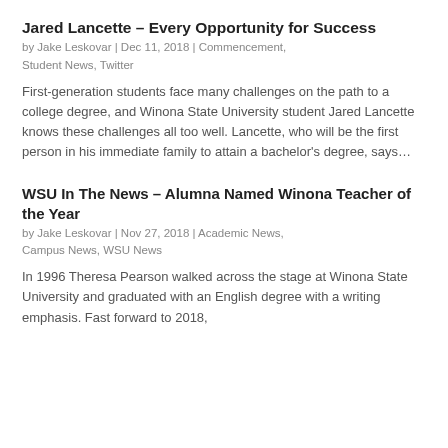Jared Lancette – Every Opportunity for Success
by Jake Leskovar | Dec 11, 2018 | Commencement, Student News, Twitter
First-generation students face many challenges on the path to a college degree, and Winona State University student Jared Lancette knows these challenges all too well. Lancette, who will be the first person in his immediate family to attain a bachelor's degree, says…
WSU In The News – Alumna Named Winona Teacher of the Year
by Jake Leskovar | Nov 27, 2018 | Academic News, Campus News, WSU News
In 1996 Theresa Pearson walked across the stage at Winona State University and graduated with an English degree with a writing emphasis. Fast forward to 2018,